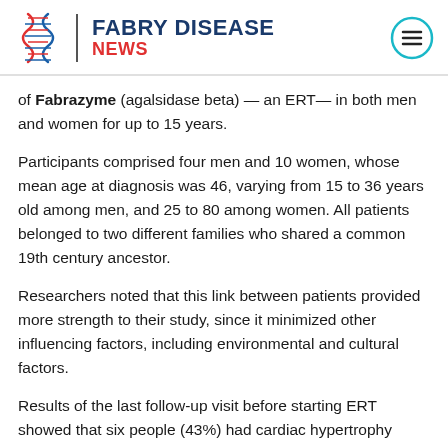FABRY DISEASE NEWS
of Fabrazyme (agalsidase beta) — an ERT— in both men and women for up to 15 years.
Participants comprised four men and 10 women, whose mean age at diagnosis was 46, varying from 15 to 36 years old among men, and 25 to 80 among women. All patients belonged to two different families who shared a common 19th century ancestor.
Researchers noted that this link between patients provided more strength to their study, since it minimized other influencing factors, including environmental and cultural factors.
Results of the last follow-up visit before starting ERT showed that six people (43%) had cardiac hypertrophy (enlargement and thickening of the